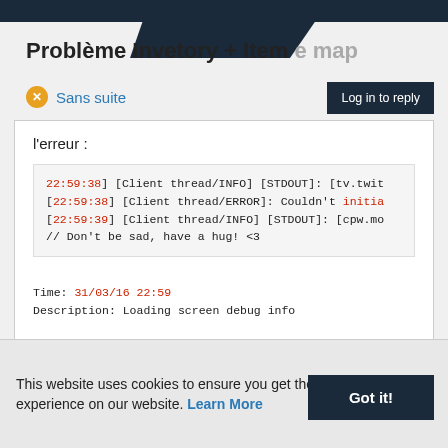Problème Invetory + Item e map
Sans suite
Log in to reply
l'erreur :
22:59:38] [Client thread/INFO] [STDOUT]: [tv.twit
[22:59:38] [Client thread/ERROR]: Couldn't initia
[22:59:39] [Client thread/INFO] [STDOUT]: [cpw.mo
// Don't be sad, have a hug! <3

Time: 31/03/16 22:59
Description: Loading screen debug info

This is just a prompt for computer specs to be pr

A detailed walkthrough of the error, its code pat
----------------------------------------------------
This website uses cookies to ensure you get the best experience on our website. Learn More
Got it!